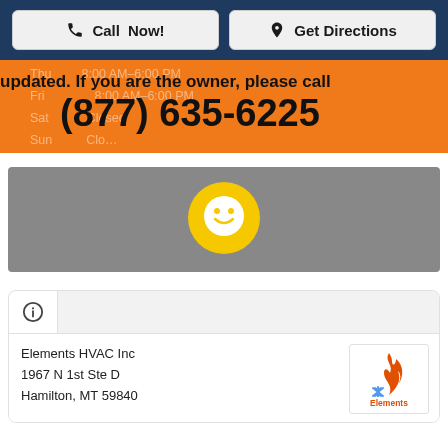Call Now!
Get Directions
updated. If you are the owner, please call
(877) 635-6225
[Figure (illustration): Gray chat widget area with yellow smiley face speech bubble icon in the center]
[Figure (logo): Elements HVAC Inc logo with flame and snowflake]
Elements HVAC Inc
1967 N 1st Ste D
Hamilton, MT 59840